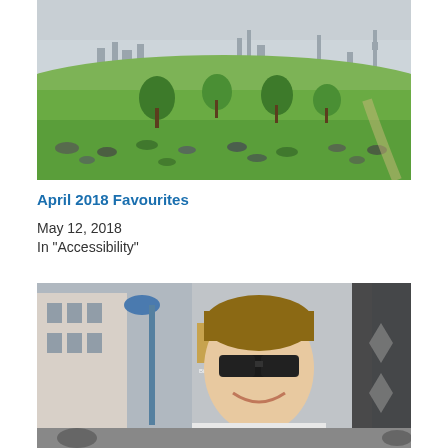[Figure (photo): Outdoor park scene with people sitting on green grass, trees in background, and London skyline visible in the distance under a hazy sky]
April 2018 Favourites
May 12, 2018
In "Accessibility"
[Figure (photo): Young man wearing sunglasses smiling at the camera, standing in front of a building with decorative ironwork gate and a blue lamp post, urban street setting]